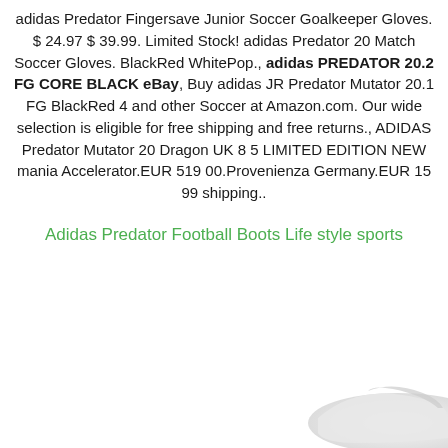adidas Predator Fingersave Junior Soccer Goalkeeper Gloves. $ 24.97 $ 39.99. Limited Stock! adidas Predator 20 Match Soccer Gloves. BlackRed WhitePop., adidas PREDATOR 20.2 FG CORE BLACK eBay, Buy adidas JR Predator Mutator 20.1 FG BlackRed 4 and other Soccer at Amazon.com. Our wide selection is eligible for free shipping and free returns., ADIDAS Predator Mutator 20 Dragon UK 8 5 LIMITED EDITION NEW mania Accelerator.EUR 519 00.Provenienza Germany.EUR 15 99 shipping..
Adidas Predator Football Boots Life style sports
[Figure (photo): Partial view of an adidas soccer/football boot in white and light grey at the bottom right corner of the page]